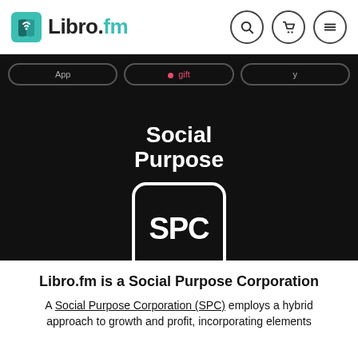Libro.fm
[Figure (logo): Social Purpose Corporation (SPC) badge — white text 'Social Purpose' above a rounded square with 'SPC' inside, and 'Corporation' below, all on black background]
Libro.fm is a Social Purpose Corporation
A Social Purpose Corporation (SPC) employs a hybrid approach to growth and profit, incorporating elements